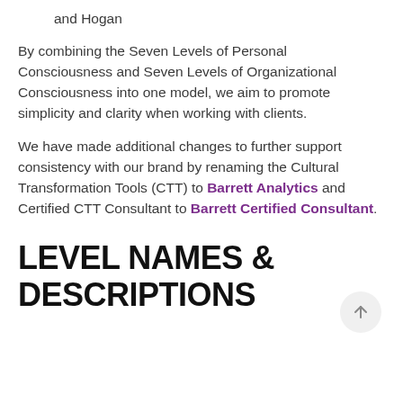and Hogan
By combining the Seven Levels of Personal Consciousness and Seven Levels of Organizational Consciousness into one model, we aim to promote simplicity and clarity when working with clients.
We have made additional changes to further support consistency with our brand by renaming the Cultural Transformation Tools (CTT) to Barrett Analytics and Certified CTT Consultant to Barrett Certified Consultant.
LEVEL NAMES & DESCRIPTIONS